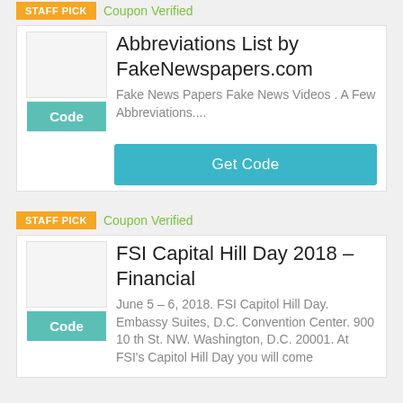STAFF PICK
Coupon Verified
Abbreviations List by FakeNewspapers.com
Fake News Papers Fake News Videos . A Few Abbreviations....
Code
Get Code
STAFF PICK
Coupon Verified
FSI Capital Hill Day 2018 – Financial
Code
June 5 – 6, 2018. FSI Capitol Hill Day. Embassy Suites, D.C. Convention Center. 900 10 th St. NW. Washington, D.C. 20001. At FSI's Capitol Hill Day you will come